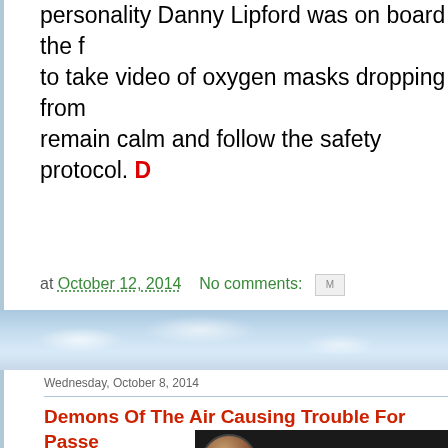personality Danny Lipford was on board the f to take video of oxygen masks dropping from remain calm and follow the safety protocol. D
at October 12, 2014   No comments:
[Figure (photo): Sky and clouds background banner between blog posts]
Wednesday, October 8, 2014
Demons Of The Air Causing Trouble For Passe Flight!
[Figure (photo): Thumbnail image showing a woman and text 'The ordeal of a delayed F' on dark background]